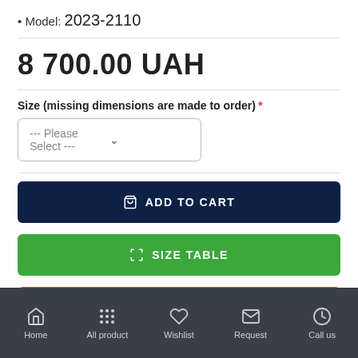Model: 2023-2110
8 700.00 UAH
Size (missing dimensions are made to order) *
--- Please Select ---
ADD TO CART
SIZE TABLE
CHECK AVAILABILITY
Home | All product | Wishlist | Request | Call us